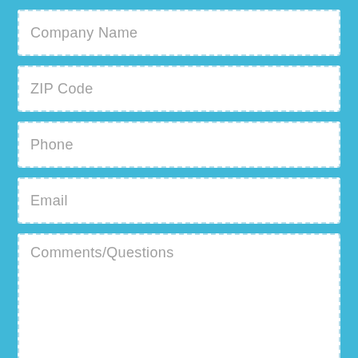Company Name
ZIP Code
Phone
Email
Comments/Questions
I'm not a robot